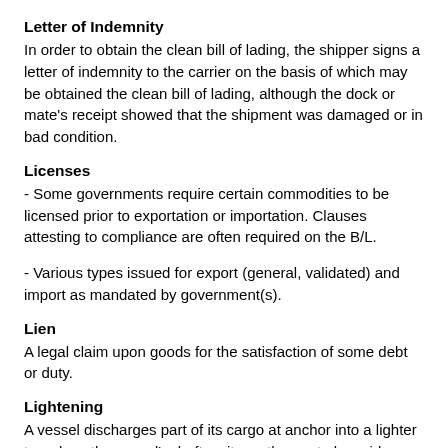Letter of Indemnity
In order to obtain the clean bill of lading, the shipper signs a letter of indemnity to the carrier on the basis of which may be obtained the clean bill of lading, although the dock or mate's receipt showed that the shipment was damaged or in bad condition.
Licenses
- Some governments require certain commodities to be licensed prior to exportation or importation. Clauses attesting to compliance are often required on the B/L.
- Various types issued for export (general, validated) and import as mandated by government(s).
Lien
A legal claim upon goods for the satisfaction of some debt or duty.
Lightening
A vessel discharges part of its cargo at anchor into a lighter to reduce the vessel's draft so it can then get alongside a pier.